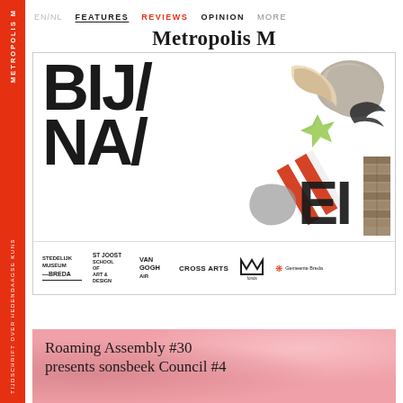EN/NL  FEATURES  REVIEWS  OPINION  MORE
Metropolis M
[Figure (illustration): BIJ/NA/EI exhibition poster with bold black typography and collage of material objects (stone, paper, brick fragments, star shape) alongside logos: Stedelijk Museum Breda, ST Joost School of Art & Design, Van Gogh Air, Cross Arts, Mondriaan fonds, Gemeente Breda]
Roaming Assembly #30 presents sonsbeek Council #4